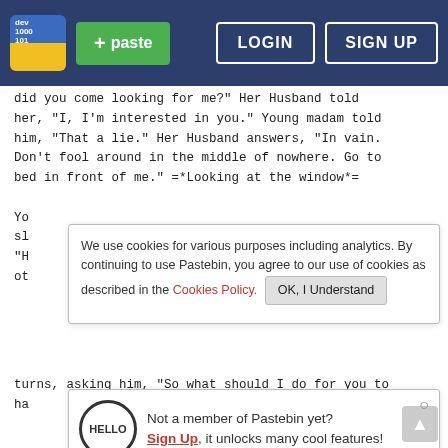paste  LOGIN  SIGN UP
did you come looking for me?" Her Husband told her, "I, I'm interested in you." Young madam told him, "That a lie." Her Husband answers, "In vain. Don't fool around in the middle of nowhere. Go to bed in front of me." =*Looking at the window*=
Yo
sl
"H
ot
We use cookies for various purposes including analytics. By continuing to use Pastebin, you agree to our use of cookies as described in the Cookies Policy.  OK, I Understand
turns, asking him, "So what should I do for you to
ha
Not a member of Pastebin yet?
Sign Up, it unlocks many cool features!
26.
27. ...~oo ooo ooooooo~...
28. MC hearing the madam's word, "What am I needed to do for you to put it in me?" MC wonders {Madam is..dreaming about her younger years...}{That's how it was then, was she's the one who spoke up?}